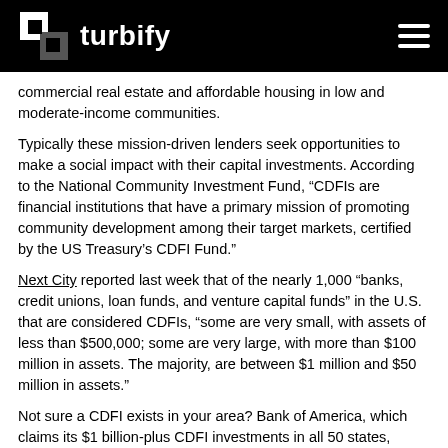turbify
commercial real estate and affordable housing in low and moderate-income communities.
Typically these mission-driven lenders seek opportunities to make a social impact with their capital investments. According to the National Community Investment Fund, “CDFIs are financial institutions that have a primary mission of promoting community development among their target markets, certified by the US Treasury’s CDFI Fund.”
Next City reported last week that of the nearly 1,000 “banks, credit unions, loan funds, and venture capital funds” in the U.S. that are considered CDFIs, “some are very small, with assets of less than $500,000; some are very large, with more than $100 million in assets. The majority, are between $1 million and $50 million in assets.”
Not sure a CDFI exists in your area? Bank of America, which claims its $1 billion-plus CDFI investments in all 50 states, Puerto Rico, and Washington, DC, makes it the nation’s largest lender to those institutions, wants to help you find one.